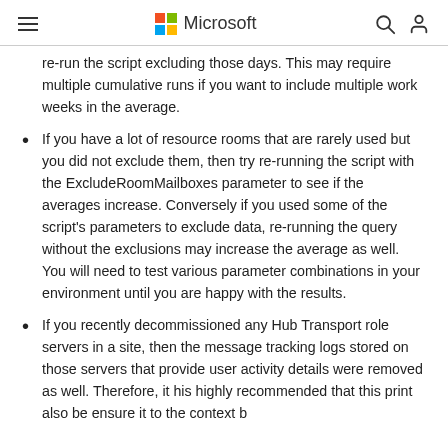Microsoft
re-run the script excluding those days. This may require multiple cumulative runs if you want to include multiple work weeks in the average.
If you have a lot of resource rooms that are rarely used but you did not exclude them, then try re-running the script with the ExcludeRoomMailboxes parameter to see if the averages increase. Conversely if you used some of the script's parameters to exclude data, re-running the query without the exclusions may increase the average as well. You will need to test various parameter combinations in your environment until you are happy with the results.
If you recently decommissioned any Hub Transport role servers in a site, then the message tracking logs stored on those servers that provide user activity details were removed as well. Therefore, it his highly recommended that this print also be ensure it to the context be